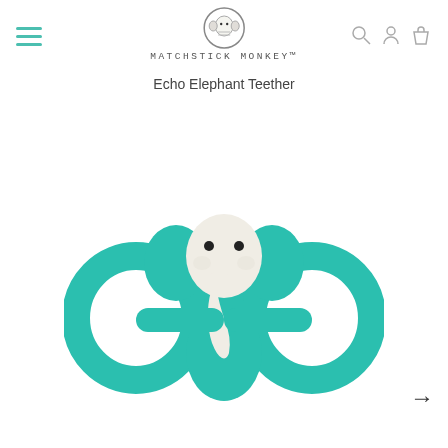MATCHSTICK MONKEY
Echo Elephant Teether
[Figure (photo): A teal/turquoise silicone elephant-shaped baby teether toy with a white face and trunk, two circular ring handles, on a white background.]